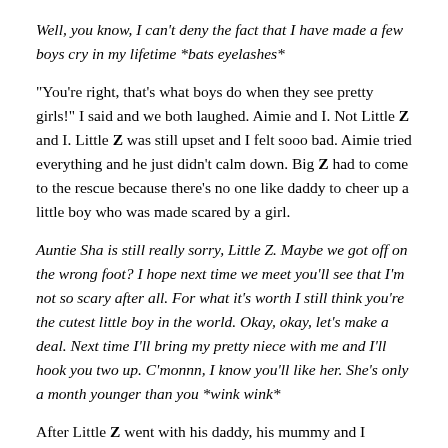Well, you know, I can't deny the fact that I have made a few boys cry in my lifetime *bats eyelashes*
"You're right, that's what boys do when they see pretty girls!" I said and we both laughed. Aimie and I. Not Little Z and I. Little Z was still upset and I felt sooo bad. Aimie tried everything and he just didn't calm down. Big Z had to come to the rescue because there's no one like daddy to cheer up a little boy who was made scared by a girl.
Auntie Sha is still really sorry, Little Z. Maybe we got off on the wrong foot? I hope next time we meet you'll see that I'm not so scary after all. For what it's worth I still think you're the cutest little boy in the world. Okay, okay, let's make a deal. Next time I'll bring my pretty niece with me and I'll hook you two up. C'monnn, I know you'll like her. She's only a month younger than you *wink wink*
After Little Z went with his daddy, his mummy and I